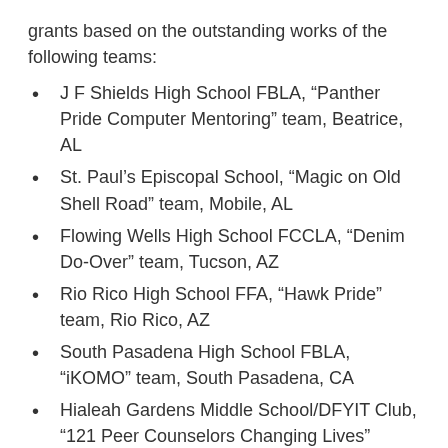grants based on the outstanding works of the following teams:
J F Shields High School FBLA, “Panther Pride Computer Mentoring” team, Beatrice, AL
St. Paul’s Episcopal School, “Magic on Old Shell Road” team, Mobile, AL
Flowing Wells High School FCCLA, “Denim Do-Over” team, Tucson, AZ
Rio Rico High School FFA, “Hawk Pride” team, Rio Rico, AZ
South Pasadena High School FBLA, “iKOMO” team, South Pasadena, CA
Hialeah Gardens Middle School/DFYIT Club, “121 Peer Counselors Changing Lives” team, Hialeah Gardens, FL